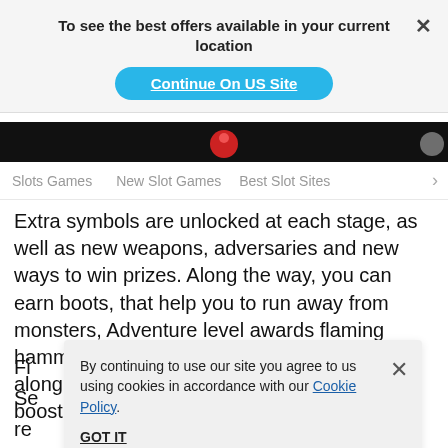To see the best offers available in your current location
Continue On US Site
Slots Games   New Slot Games   Best Slot Sites  >
Extra symbols are unlocked at each stage, as well as new weapons, adversaries and new ways to win prizes. Along the way, you can earn boots, that help you to run away from monsters, Adventure level awards flaming hammer symbols that help you to kill things, along with win multiplier symbols that can boost p[ayouts by up to 32]
F[ree Spins are triggered when you de]cide to play in the Se[ttings bo]d random wild re[els in the Be]est of Fortune, where roaming wilds can appear. Rise through the
By continuing to use our site you agree to us using cookies in accordance with our Cookie Policy.
GOT IT